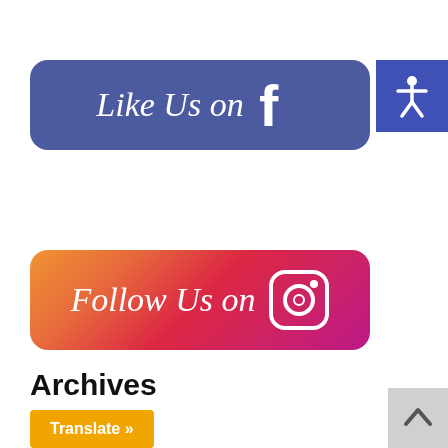[Figure (illustration): Facebook 'Like Us on' button — rounded rectangle with blue-purple background, script text 'Like Us on' and Facebook 'f' icon in white]
[Figure (illustration): Accessibility icon button in blue square — wheelchair symbol in white]
[Figure (illustration): Instagram 'Follow Us on' button — rounded rectangle with gradient background (orange to pink to purple), script text 'Follow Us on' and Instagram camera icon in white]
Archives
August 2022
[Figure (illustration): Orange 'Translate »' button]
[Figure (illustration): Scroll-to-top button — grey square with upward arrow]